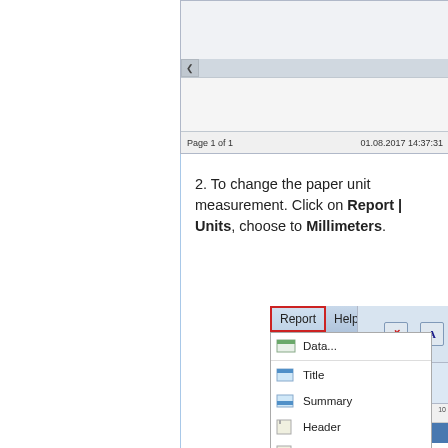[Figure (screenshot): Screenshot of a report designer showing a page with a blue bookmark/arrow marker, ruler, and status bar showing 'Page 1 of 1' and '01.08.2017 14:37:31']
2. To change the paper unit measurement. Click on Report | Units, choose to Millimeters.
[Figure (screenshot): Screenshot of a report designer menu with 'Report' menu open (highlighted with red border) showing dropdown items: Data..., Title, Summary, Header, Footer, Page Summary, Page Style, Groups... Ctrl+G, Outline Setti... alongside Help menu and right panel showing toolbar buttons and Column header with barcode]